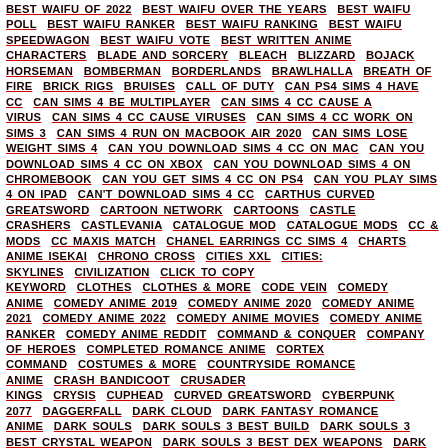BEST WAIFU OF 2022   BEST WAIFU OVER THE YEARS   BEST WAIFU POLL   BEST WAIFU RANKER   BEST WAIFU RANKING   BEST WAIFU SPEEDWAGON   BEST WAIFU VOTE   BEST WRITTEN ANIME CHARACTERS   BLADE AND SORCERY   BLEACH   BLIZZARD   BOJACK HORSEMAN   BOMBERMAN   BORDERLANDS   BRAWLHALLA   BREATH OF FIRE   BRICK RIGS   BRUISES   CALL OF DUTY   CAN PS4 SIMS 4 HAVE CC   CAN SIMS 4 BE MULTIPLAYER   CAN SIMS 4 CC CAUSE A VIRUS   CAN SIMS 4 CC CAUSE VIRUSES   CAN SIMS 4 CC WORK ON SIMS 3   CAN SIMS 4 RUN ON MACBOOK AIR 2020   CAN SIMS LOSE WEIGHT SIMS 4   CAN YOU DOWNLOAD SIMS 4 CC ON MAC   CAN YOU DOWNLOAD SIMS 4 CC ON XBOX   CAN YOU DOWNLOAD SIMS 4 ON CHROMEBOOK   CAN YOU GET SIMS 4 CC ON PS4   CAN YOU PLAY SIMS 4 ON IPAD   CAN'T DOWNLOAD SIMS 4 CC   CARTHUS CURVED GREATSWORD   CARTOON NETWORK   CARTOONS   CASTLE CRASHERS   CASTLEVANIA   CATALOGUE MOD   CATALOGUE MODS   CC & MODS   CC MAXIS MATCH   CHANEL EARRINGS CC SIMS 4   CHARTS ANIME ISEKAI   CHRONO CROSS   CITIES XXL   CITIES: SKYLINES   CIVILIZATION   CLICK TO COPY KEYWORD   CLOTHES   CLOTHES & MORE   CODE VEIN   COMEDY ANIME   COMEDY ANIME 2019   COMEDY ANIME 2020   COMEDY ANIME 2021   COMEDY ANIME 2022   COMEDY ANIME MOVIES   COMEDY ANIME RANKER   COMEDY ANIME REDDIT   COMMAND & CONQUER   COMPANY OF HEROES   COMPLETED ROMANCE ANIME   CORTEX COMMAND   COSTUMES & MORE   COUNTRYSIDE ROMANCE ANIME   CRASH BANDICOOT   CRUSADER KINGS   CRYSIS   CUPHEAD   CURVED GREATSWORD   CYBERPUNK 2077   DAGGERFALL   DARK CLOUD   DARK FANTASY ROMANCE ANIME   DARK SOULS   DARK SOULS 3 BEST BUILD   DARK SOULS 3 BEST CRYSTAL WEAPON   DARK SOULS 3 BEST DEX WEAPONS   DARK SOULS 3 BEST WEAPON INFUSION REDDIT   DARK SOULS 3 BEST WEAPONS PVE   DARK SOULS 3 CLASS   DARK SOULS 3 CRYSTAL INFUSION   DARK SOULS 3 DARK WEAPON INFUSION   DARK SOULS 3 DEX BUILD   DARK SOULS 3 DEX WEAPONS PVE   DARK SOULS 3 EARLY LIGHTNING WEAPON   DARK SOULS 3 EXILE GREATSWORD   DARK SOULS 3 KATANA   DARK SOULS 3 LIGHTNING